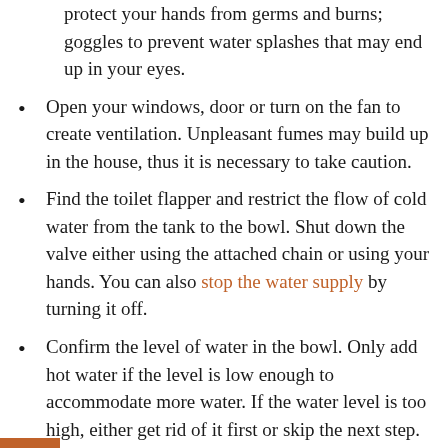protect your hands from germs and burns; goggles to prevent water splashes that may end up in your eyes.
Open your windows, door or turn on the fan to create ventilation. Unpleasant fumes may build up in the house, thus it is necessary to take caution.
Find the toilet flapper and restrict the flow of cold water from the tank to the bowl. Shut down the valve either using the attached chain or using your hands. You can also stop the water supply by turning it off.
Confirm the level of water in the bowl. Only add hot water if the level is low enough to accommodate more water. If the water level is too high, either get rid of it first or skip the next step.